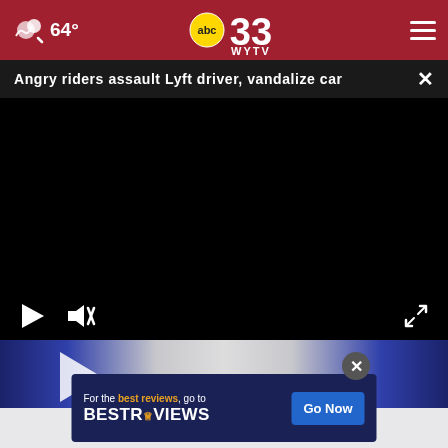64° | abc33 WYTV | menu
Angry riders assault Lyft driver, vandalize car
[Figure (screenshot): Video player with black screen showing paused video, play and mute controls visible at bottom left, fullscreen icon at bottom right]
[Figure (screenshot): News desk scene with anchors at desk, advertisement overlay for BestReviews with 'Go Now' button]